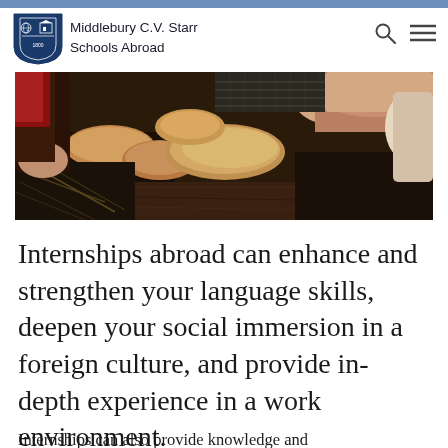Middlebury C.V. Starr Schools Abroad
[Figure (photo): Close-up photo of multiple people's hands working with dough or clay on a dark surface, suggesting a cooking or craft activity]
Internships abroad can enhance and strengthen your language skills, deepen your social immersion in a foreign culture, and provide in-depth experience in a work environment.
Internships can also provide knowledge and